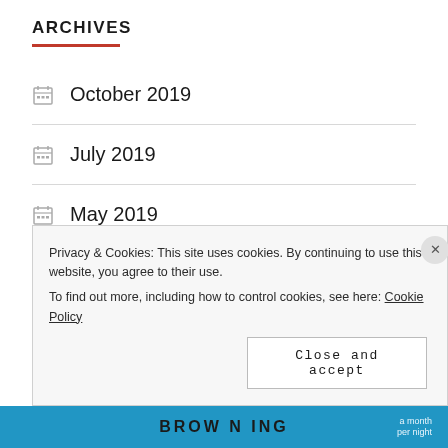ARCHIVES
October 2019
July 2019
May 2019
April 2019
February 2019
Privacy & Cookies: This site uses cookies. By continuing to use this website, you agree to their use.
To find out more, including how to control cookies, see here: Cookie Policy
Close and accept